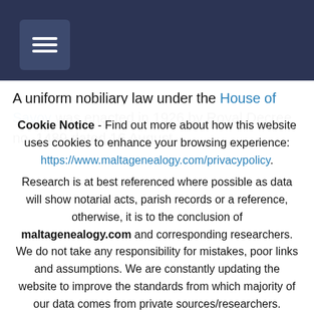Navigation menu bar with hamburger icon
A uniform nobiliary law under the House of Savoy was enacted in 1926 by Royal Decree no. 1489 dated 16 August
Cookie Notice - Find out more about how this website uses cookies to enhance your browsing experience: https://www.maltagenealogy.com/privacypolicy. Research is at best referenced where possible as data will show notarial acts, parish records or a reference, otherwise, it is to the conclusion of maltagenealogy.com and corresponding researchers. We do not take any responsibility for mistakes, poor links and assumptions. We are constantly updating the website to improve the standards from which majority of our data comes from private sources/researchers.
Accept